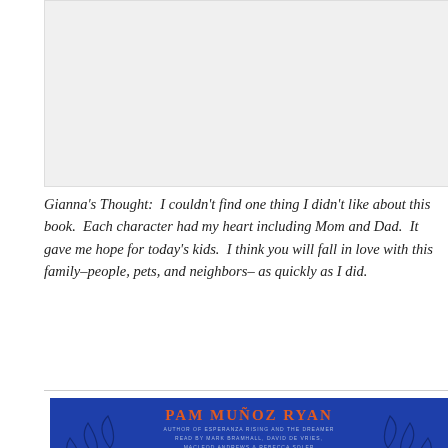[Figure (other): Gray placeholder image area at the top of the page]
Gianna's Thought:  I couldn't find one thing I didn't like about this book.  Each character had my heart including Mom and Dad.  It gave me hope for today's kids.  I think you will fall in love with this family–people, pets, and neighbors– as quickly as I did.
[Figure (illustration): Book cover for 'Echo' by Pam Muñoz Ryan, blue background with white script title lettering and floral/leaf decorations. Author name in orange at top.]